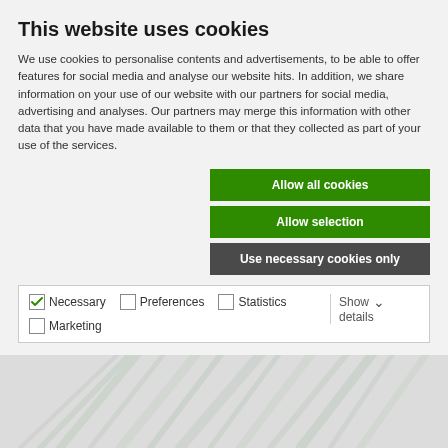This website uses cookies
We use cookies to personalise contents and advertisements, to be able to offer features for social media and analyse our website hits. In addition, we share information on your use of our website with our partners for social media, advertising and analyses. Our partners may merge this information with other data that you have made available to them or that they collected as part of your use of the services.
Allow all cookies
Allow selection
Use necessary cookies only
Necessary  Preferences  Statistics  Marketing  Show details
[Figure (screenshot): Green banner with close X button, white bar above it, background with medical/dental tools]
[Figure (photo): Faded background showing various dental or medical tools arranged diagonally]